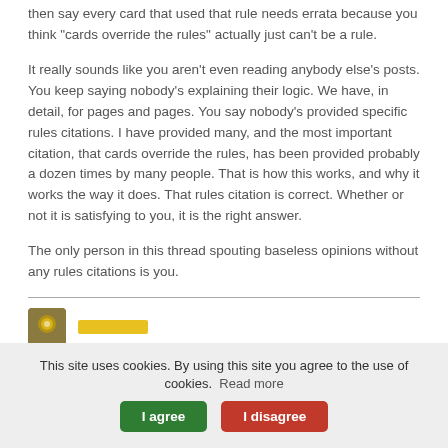then say every card that used that rule needs errata because you think "cards override the rules" actually just can't be a rule.
It really sounds like you aren't even reading anybody else's posts. You keep saying nobody's explaining their logic. We have, in detail, for pages and pages. You say nobody's provided specific rules citations. I have provided many, and the most important citation, that cards override the rules, has been provided probably a dozen times by many people. That is how this works, and why it works the way it does. That rules citation is correct. Whether or not it is satisfying to you, it is the right answer.
The only person in this thread spouting baseless opinions without any rules citations is you.
[Figure (other): User avatar (circular icon with decorative design) and a yellow username bar below a horizontal divider]
This site uses cookies. By using this site you agree to the use of cookies.  Read more  I agree  I disagree